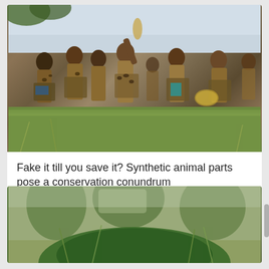[Figure (photo): Group of people in traditional African ceremonial dress with leopard-print garments dancing in a field]
Fake it till you save it? Synthetic animal parts pose a conservation conundrum
[Figure (photo): Close-up of green foliage or plant material against a blurred outdoor background with trees]